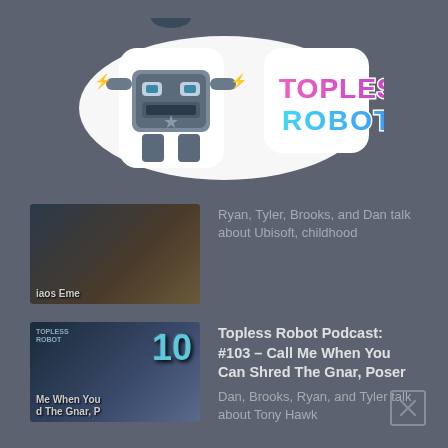[Figure (logo): Topless Robot logo with cartoon robot and retro-style text]
[Figure (photo): Thumbnail for Chaos Eme... podcast episode showing blurred video thumbnail]
Ryan, Tyler, Brooks, and Dan talk about Ubisoft, childhood
[Figure (photo): Thumbnail for Topless Robot Podcast #103 Call Me When You Can Shred The Gnar, Poser showing 4 hosts and number 103]
Topless Robot Podcast: #103 – Call Me When You Can Shred The Gnar, Poser
Dan, Brooks, Ryan, and Tyler talk about Tony Hawk